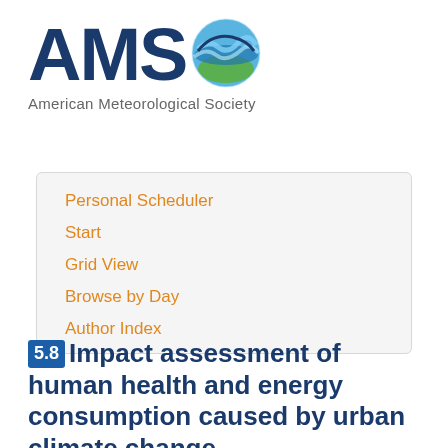[Figure (logo): American Meteorological Society (AMS) logo with large dark blue AMS text and a globe icon featuring blue water, green land, and wave patterns]
American Meteorological Society
Personal Scheduler
Start
Grid View
Browse by Day
Author Index
5.8 Impact assessment of human health and energy consumption caused by urban climate change